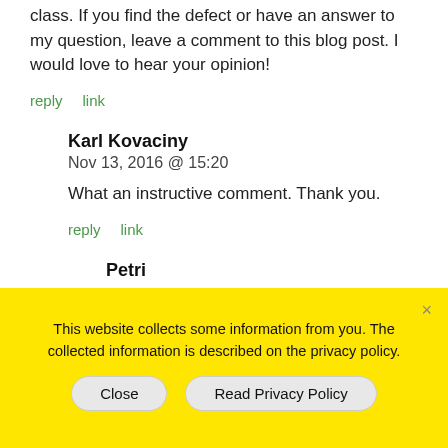class. If you find the defect or have an answer to my question, leave a comment to this blog post. I would love to hear your opinion!
reply   link
Karl Kovaciny
Nov 13, 2016 @ 15:20

What an instructive comment. Thank you.

reply   link
Petri
This website collects some information from you. The collected information is described on the privacy policy.
Close   Read Privacy Policy